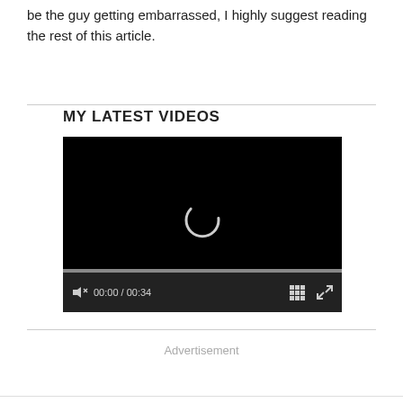be the guy getting embarrassed, I highly suggest reading the rest of this article.
MY LATEST VIDEOS
[Figure (screenshot): A video player with a black screen showing a loading spinner, a progress bar, and video controls showing 00:00 / 00:34 with mute, grid, and fullscreen buttons.]
Advertisement